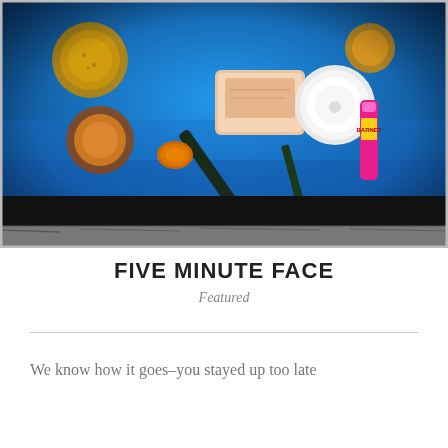[Figure (photo): Overhead flat-lay photo of makeup products including foundation brushes, compact powder, lip gloss, and cosmetic containers arranged on a bright blue fabric background, with a black bar across the bottom of the image and worn/vignette border treatment.]
FIVE MINUTE FACE
Featured
We know how it goes–you stayed up too late